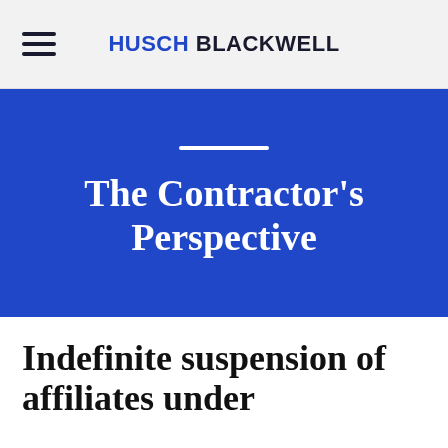HUSCH BLACKWELL
The Contractor's Perspective
Indefinite suspension of affiliates under